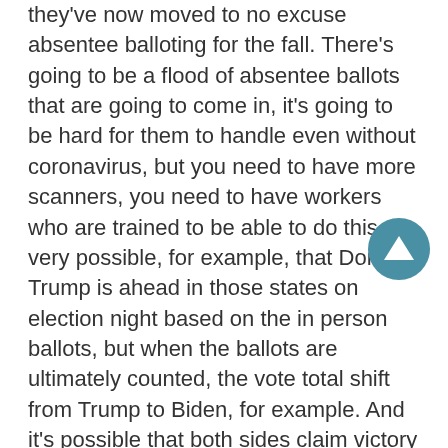they've now moved to no excuse absentee balloting for the fall. There's going to be a flood of absentee ballots that are going to come in, it's going to be hard for them to handle even without coronavirus, but you need to have more scanners, you need to have workers who are trained to be able to do this. It's very possible, for example, that Donald Trump is ahead in those states on election night based on the in person ballots, but when the ballots are ultimately counted, the vote total shift from Trump to Biden, for example. And it's possible that both sides claim victory and there is a fight over the Electoral College votes in Congress.
So there's all kinds of problems that could happen because we know two things about absentee ballots. One, we know this from California, they take a really long time to count. And number two, at least in recent years, the late arriving absentee ballots have tended to favor the Democratic candidates and you get what's called the